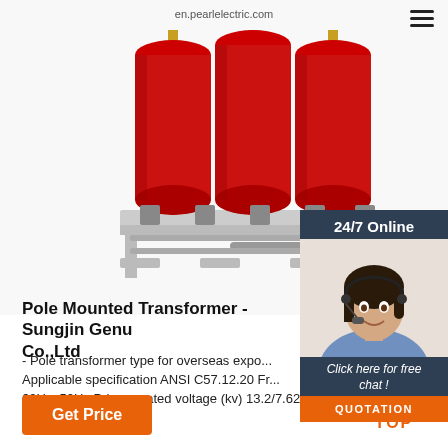en.pearlelectric.com
[Figure (photo): Three-phase pole mounted transformer with red cylindrical coils on a metal frame base, industrial product photo on white background.]
[Figure (photo): 24/7 Online support widget showing a female customer service agent with headset, dark blue background with 'Click here for free chat!' text and orange QUOTATION button.]
Pole Mounted Transformer - Sungjin Genu Co.,Ltd
- Pole transformer type for overseas expo... Applicable specification ANSI C57.12.20 Fr... 60Hz, 50Hz Primary rated voltage (kv) 13.2/7.62
Get Price
[Figure (logo): TOP icon with orange dots arranged in a triangle above the text TOP in orange.]